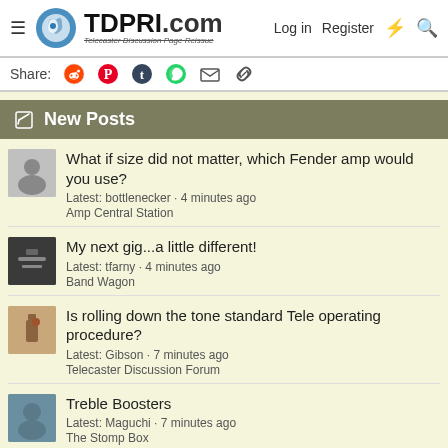TDPRI.com Telecaster Discussion Page Reissue — Log in | Register
Share: [reddit] [pinterest] [tumblr] [whatsapp] [email] [link]
New Posts
What if size did not matter, which Fender amp would you use?
Latest: bottlenecker · 4 minutes ago
Amp Central Station
My next gig...a little different!
Latest: tfarny · 4 minutes ago
Band Wagon
Is rolling down the tone standard Tele operating procedure?
Latest: Gibson · 7 minutes ago
Telecaster Discussion Forum
Treble Boosters
Latest: Maguchi · 7 minutes ago
The Stomp Box